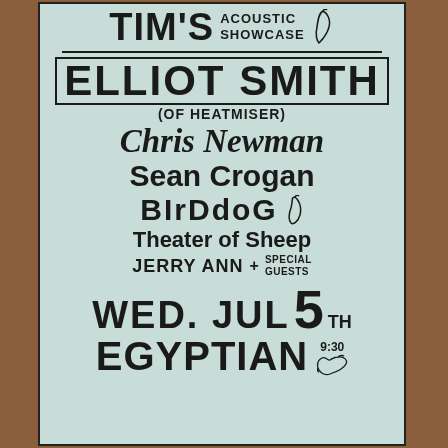TIM'S ACOUSTIC SHOWCASE
ELLIOT SMITH
(OF HEATMISER)
Chris Newman
Sean Crogan
BIrDdoG
Theater of Sheep
JERRY ANN + SPECIAL GUESTS
WED. JUL 5TH
EGYPTIAN 9:30